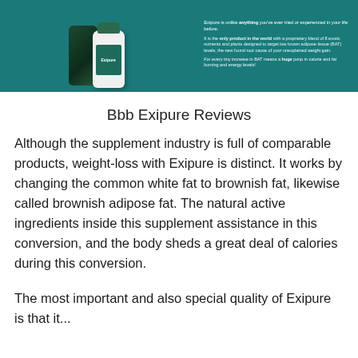[Figure (photo): Exipure supplement product banner with teal background showing two bottles of Exipure supplement and marketing text about BAT levels and weight loss]
Bbb Exipure Reviews
Although the supplement industry is full of comparable products, weight-loss with Exipure is distinct. It works by changing the common white fat to brownish fat, likewise called brownish adipose fat. The natural active ingredients inside this supplement assistance in this conversion, and the body sheds a great deal of calories during this conversion.
The most important and also special quality of Exipure is that it...